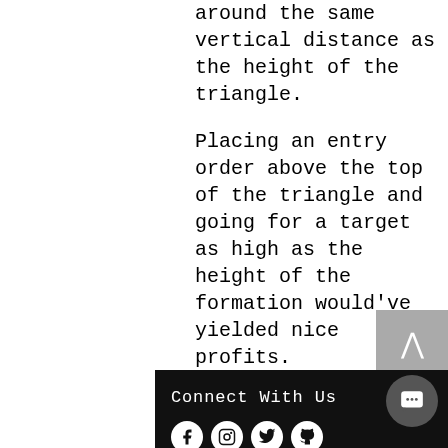around the same vertical distance as the height of the triangle.
Placing an entry order above the top of the triangle and going for a target as high as the height of the formation would've yielded nice profits.
For more trading education please visit our website www.OptionTradersNetwork.com
Connect With Us